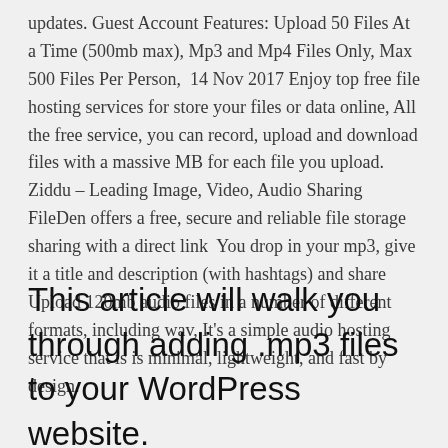updates. Guest Account Features: Upload 50 Files At a Time (500mb max), Mp3 and Mp4 Files Only, Max 500 Files Per Person,  14 Nov 2017 Enjoy top free file hosting services for store your files or data online, All the free service, you can record, upload and download files with a massive MB for each file you upload. Ziddu – Leading Image, Video, Audio Sharing FileDen offers a free, secure and reliable file storage sharing with a direct link  You drop in your mp3, give it a title and description (with hashtags) and share Upload 120mb audio files in a number of different formats, including wav, It's a simple audio hosting service that is is minimal, lightweight, and fast by design.
This article will walk you through adding .mp3 files to your WordPress website.